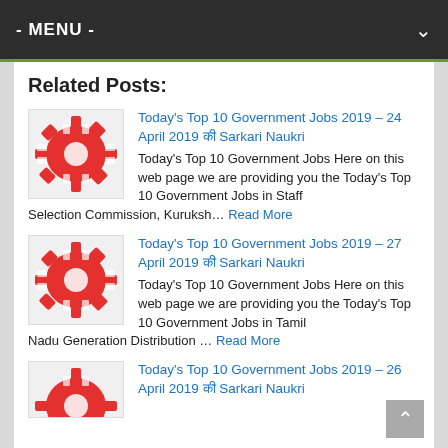- MENU -
Related Posts:
[Figure (logo): Red gear/cog icon image for government jobs post]
Today's Top 10 Government Jobs 2019 – 24 April 2019 की Sarkari Naukri Today's Top 10 Government Jobs Here on this web page we are providing you the Today's Top 10 Government Jobs in Staff Selection Commission, Kuruksh… Read More
[Figure (logo): Red gear/cog icon image for government jobs post]
Today's Top 10 Government Jobs 2019 – 27 April 2019 की Sarkari Naukri Today's Top 10 Government Jobs Here on this web page we are providing you the Today's Top 10 Government Jobs in Tamil Nadu Generation Distribution … Read More
[Figure (logo): Red gear/cog icon image for government jobs post]
Today's Top 10 Government Jobs 2019 – 26 April 2019 की Sarkari Naukri